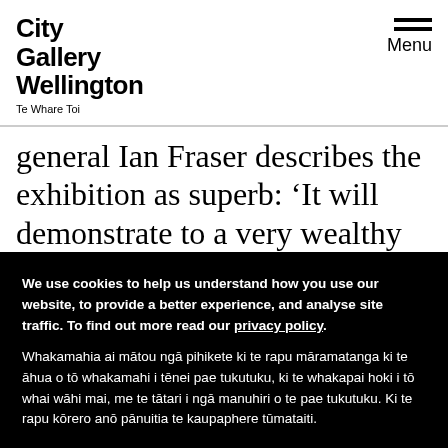City Gallery Wellington Te Whare Toi
general Ian Fraser describes the exhibition as superb: ‘It will demonstrate to a very wealthy
We use cookies to help us understand how you use our website, to provide a better experience, and analyse site traffic. To find out more read our privacy policy. Whakamahia ai mātou ngā pihikete ki te rapu māramatanga ki te āhua o tō whakamahi i tēnei pae tukutuku, ki te whakapai hoki i tō whai wāhi mai, me te tātari i ngā manuhiri o te pae tukutuku. Ki te rapu kōrero anō pānuitia te kaupaphere tūmataiti.
Accept and close